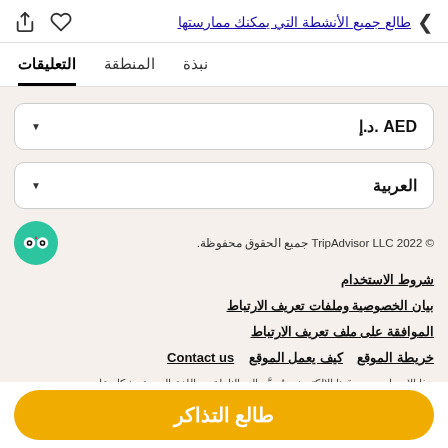طالع جميع الأنشطة التي يمكنك ممارستها
نبذة   المنطقة   التعليقات
AED .د.إ
العربية
© TripAdvisor LLC 2022 جميع الحقوق محفوظة.
شروط الاستخدام
بيان الخصوصية وملفات تعريف الارتباط
الموافقة على ملف تعريف الارتباط
خريطة الموقع   كيف يعمل الموقع   Contact us
هذا الإصدار من موقعنا الإلكتروني مُوجَّه إلى الناطقين باللغة العربية بشكل عام، باستثناء عندما يكون هناك إصدار محدد لموقعنا الالكتروني مخصص لبلدهم أو
طالع التذاكر